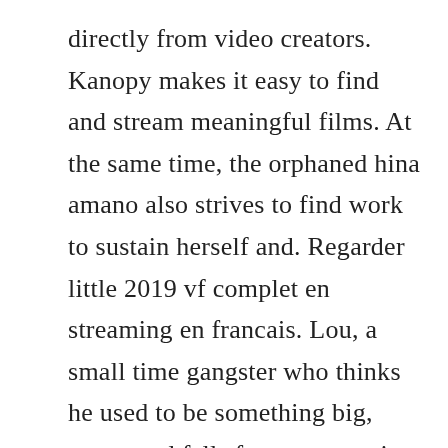directly from video creators. Kanopy makes it easy to find and stream meaningful films. At the same time, the orphaned hina amano also strives to find work to sustain herself and. Regarder little 2019 vf complet en streaming en francais. Lou, a small time gangster who thinks he used to be something big, meets and falls for a sexy casino employee named sally. It stars john hawkes as an alcoholic excop who discovers a woman left for dead on the side of a road and finds himself compelled to locate the killer. Buy films and tv shows from